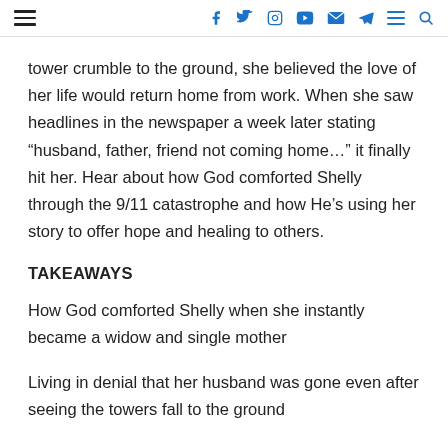[hamburger menu] [facebook] [twitter] [instagram] [youtube] [email] [telegram] [menu] [search]
tower crumble to the ground, she believed the love of her life would return home from work. When she saw headlines in the newspaper a week later stating “husband, father, friend not coming home…” it finally hit her. Hear about how God comforted Shelly through the 9/11 catastrophe and how He’s using her story to offer hope and healing to others.
TAKEAWAYS
How God comforted Shelly when she instantly became a widow and single mother
Living in denial that her husband was gone even after seeing the towers fall to the ground